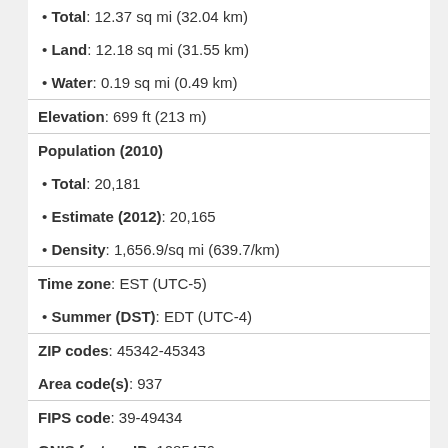Total: 12.37 sq mi (32.04 km)
Land: 12.18 sq mi (31.55 km)
Water: 0.19 sq mi (0.49 km)
Elevation: 699 ft (213 m)
Population (2010)
Total: 20,181
Estimate (2012): 20,165
Density: 1,656.9/sq mi (639.7/km)
Time zone: EST (UTC-5)
Summer (DST): EDT (UTC-4)
ZIP codes: 45342-45343
Area code(s): 937
FIPS code: 39-49434
GNIS feature ID: 1085476